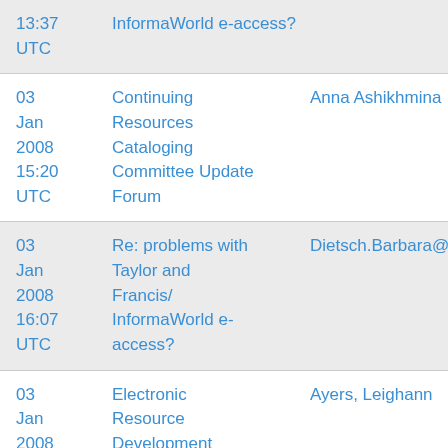| Date | Subject | Sender |
| --- | --- | --- |
| 03 Jan 2008 13:37 UTC | InformaWorld e-access? |  |
| 03 Jan 2008 15:20 UTC | Continuing Resources Cataloging Committee Update Forum | Anna Ashikhmina |
| 03 Jan 2008 16:07 UTC | Re: problems with Taylor and Francis/ InformaWorld e-access? | Dietsch.Barbara@EPA.GOV |
| 03 Jan 2008 16:20 UTC | Electronic Resource Development position | Ayers, Leighann |